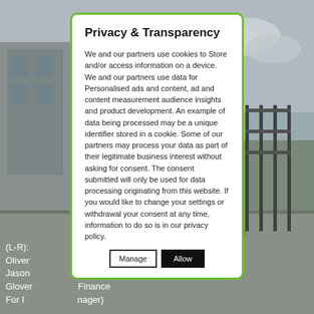[Figure (photo): Background photo of a building exterior with parking area, fencing, and cloudy sky. Overlaid text partially visible showing staff names: (L-R): Oliver..., Jason..., Philippa Glover..., Finance For I..., ager)]
Privacy & Transparency
We and our partners use cookies to Store and/or access information on a device. We and our partners use data for Personalised ads and content, ad and content measurement audience insights and product development. An example of data being processed may be a unique identifier stored in a cookie. Some of our partners may process your data as part of their legitimate business interest without asking for consent. The consent submitted will only be used for data processing originating from this website. If you would like to change your settings or withdrawal your consent at any time, information to do so is in our privacy policy.
Manage   Allow